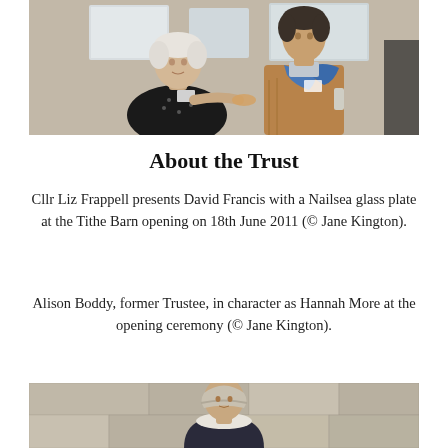[Figure (photo): Two people in conversation indoors. A woman with short white hair wearing a black patterned top and a name badge, and a taller person in a brown/tan jacket with a blue scarf/neckerchief, holding a glass. Stone wall and windows in background.]
About the Trust
Cllr Liz Frappell presents David Francis with a Nailsea glass plate at the Tithe Barn opening on 18th June 2011 (© Jane Kington).
Alison Boddy, former Trustee, in character as Hannah More at the opening ceremony (© Jane Kington).
[Figure (photo): A person dressed in period costume (as Hannah More), visible from approximately the shoulders up, against a stone wall background.]